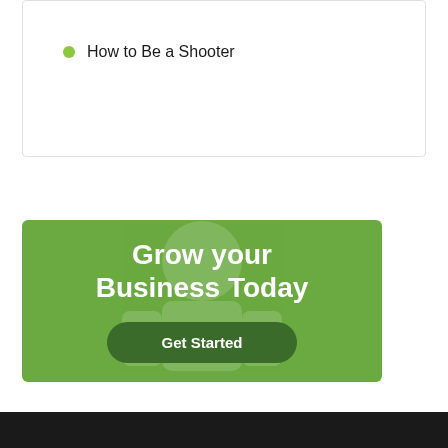How to Be a Shooter
[Figure (infographic): Green promotional banner with text 'Grow your Business Today' and a 'Get Started' button. Background has a faint watermark illustration of a person.]